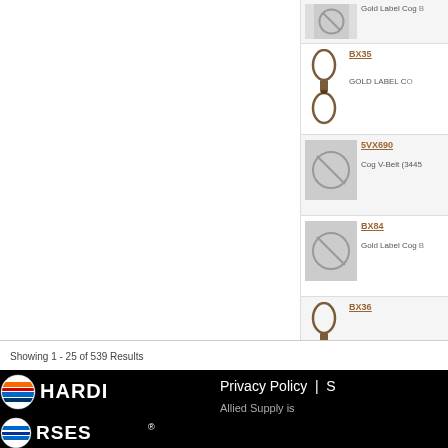[Figure (screenshot): Product listing row - Gold Label Cog (partial, cut off at top)]
[Figure (screenshot): Product listing row - BX35, belt image shown, GOLD LABEL COG description]
[Figure (screenshot): Product listing row - 5VX690, no image placeholder, Cog V-Belt (3445... description]
[Figure (screenshot): Product listing row - BX84, no image placeholder, Gold Label Cog description]
[Figure (screenshot): Product listing row - BX36, belt image shown, GOLD LABEL COG description]
Showing 1 - 25 of 539 Results
[Figure (logo): HARDI logo - circular emblem with orange and blue stripes, text HARDI]
[Figure (logo): RSES logo - circular emblem with blue stripes, text RSES with registered trademark]
Privacy Policy | S
Allied Supply is